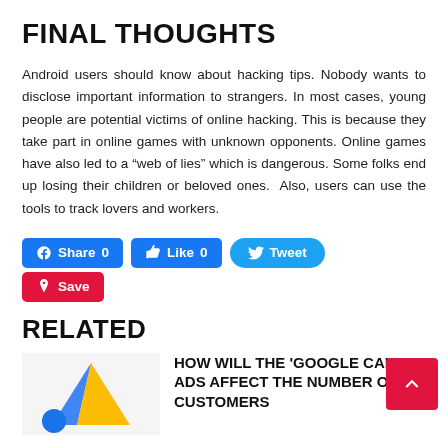FINAL THOUGHTS
Android users should know about hacking tips. Nobody wants to disclose important information to strangers. In most cases, young people are potential victims of online hacking. This is because they take part in online games with unknown opponents. Online games have also led to a “web of lies” which is dangerous. Some folks end up losing their children or beloved ones.  Also, users can use the tools to track lovers and workers.
[Figure (other): Social sharing buttons: Share 0 (Facebook), Like 0 (Facebook), Tweet (Twitter), Save (Pinterest)]
RELATED
[Figure (other): Thumbnail image with Google Ads logo (triangle shape in blue and yellow)]
HOW WILL THE 'GOOGLE CALL ADS AFFECT THE NUMBER OF CUSTOMERS